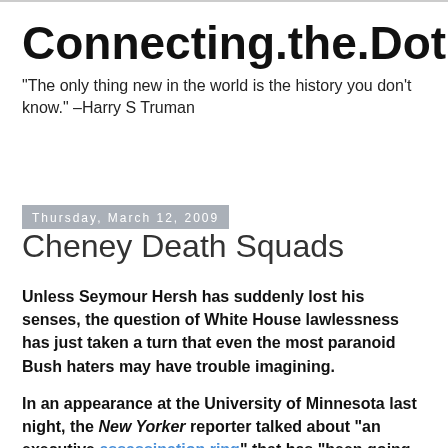Connecting.the.Dots
"The only thing new in the world is the history you don't know." –Harry S Truman
Thursday, March 12, 2009
Cheney Death Squads
Unless Seymour Hersh has suddenly lost his senses, the question of White House lawlessness has just taken a turn that even the most paranoid Bush haters may have trouble imagining.
In an appearance at the University of Minnesota last night, the New Yorker reporter talked about "an executive assassination ring" that has "been going into countries... and finding people on a list and executing them and leaving. That's been going on, in the name of all of us."